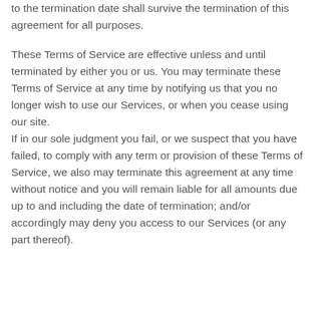to the termination date shall survive the termination of this agreement for all purposes.
These Terms of Service are effective unless and until terminated by either you or us. You may terminate these Terms of Service at any time by notifying us that you no longer wish to use our Services, or when you cease using our site.
If in our sole judgment you fail, or we suspect that you have failed, to comply with any term or provision of these Terms of Service, we also may terminate this agreement at any time without notice and you will remain liable for all amounts due up to and including the date of termination; and/or accordingly may deny you access to our Services (or any part thereof).